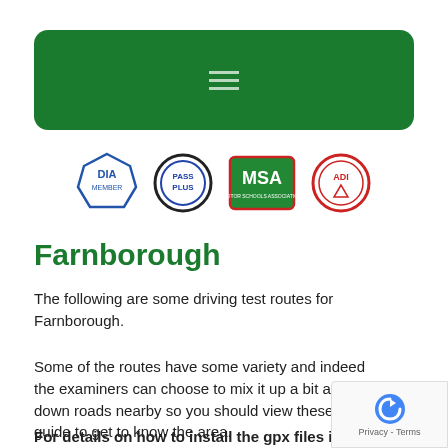[Figure (other): Green rounded rectangle navigation bar with hamburger menu icon (three horizontal lines) centered]
[Figure (logo): Four certification logos in a row: DIA Member (blue octagon), Pass Plus (black/blue circular), MSA Motor Schools Association (green/red rectangular), and ADI (red circular)]
Farnborough
The following are some driving test routes for Farnborough.
Some of the routes have some variety and indeed the examiners can choose to mix it up a bit and go down roads nearby so you should view these as a guide to get to know the area.
For details on how to install the gpx files into your